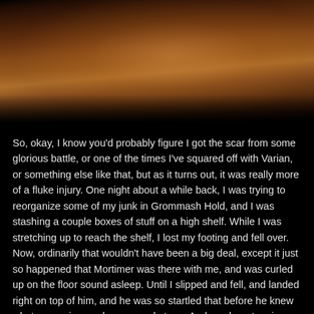[Figure (photo): Dark, warm-toned close-up photograph of what appears to be a figure or character in dim amber/brown lighting, showing partial face/body details with heavy shadow.]
So, okay, I know you'd probably figure I got the scar from some glorious battle, or one of the times I've squared off with Varian, or something else like that, but as it turns out, it was really more of a fluke injury. One night about a while back, I was trying to reorganize some of my junk in Grommash Hold, and I was stashing a couple boxes of stuff on a high shelf. While I was stretching up to reach the shelf, I lost my footing and fell over. Now, ordinarily that wouldn't have been a big deal, except it just so happened that Mortimer was there with me, and was curled up on the floor sound asleep. Until I slipped and fell, and landed right on top of him, and he was so startled that before he knew what was going on, he snapped at me. And, yeah, got a nice chunk of my lip.
So, that was fun.
Gotta say, though, in a way it was kind of endearing afterward – once Mortimer knew what was going on, he DID act all sad and